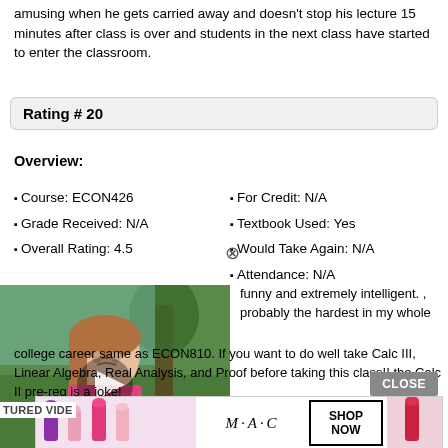amusing when he gets carried away and doesn't stop his lecture 15 minutes after class is over and students in the next class have started to enter the classroom.
Rating # 20
Overview:
Course: ECON426
Grade Received: N/A
Overall Rating: 4.5
For Credit: N/A
Textbook Used: Yes
Would Take Again: N/A
Attendance: N/A
[Figure (photo): Video thumbnail showing a girl with a play button overlay, outdoors background]
funny and extremely intelligent. , probably the hardest in my whole college career same as ECON810. If you want to do well take Calc III, Linear Algebra, Real Analysis, and Proof before taking this class!! the Calc II pre-req is a joke!
CLOSE
[Figure (photo): MAC cosmetics advertisement banner with lipstick products and SHOP NOW button]
TURED VIDE